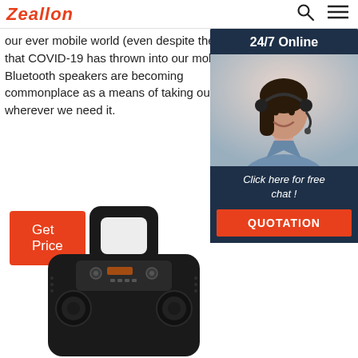Zeallon
our ever mobile world (even despite the wrench that COVID-19 has thrown into our mobility), Bluetooth speakers are becoming commonplace as a means of taking our music wh... it.
Get Price
[Figure (photo): Customer service representative woman with headset smiling, with '24/7 Online' header and 'Click here for free chat! QUOTATION' button in a dark navy chat widget overlay]
[Figure (photo): Black portable Bluetooth speaker with handle on top and control panel visible, shown from above/front angle]